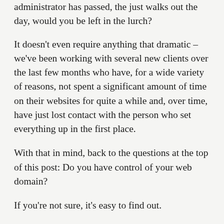administrator has passed, the just walks out the day, would you be left in the lurch?
It doesn't even require anything that dramatic – we've been working with several new clients over the last few months who have, for a wide variety of reasons, not spent a significant amount of time on their websites for quite a while and, over time, have just lost contact with the person who set everything up in the first place.
With that in mind, back to the questions at the top of this post: Do you have control of your web domain?
If you're not sure, it's easy to find out.
Simply go to WhoIs, type in your domain name and click the look-up button. Now find the name of the Registrar listed and think carefully – do you have an account there? If so, do